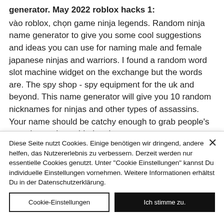generator. May 2022 roblox hacks 1: vào roblox, chọn game ninja legends. Random ninja name generator to give you some cool suggestions and ideas you can use for naming male and female japanese ninjas and warriors. I found a random word slot machine widget on the exchange but the words are. The spy shop - spy equipment for the uk and beyond. This name generator will give you 10 random nicknames for ninjas and other types of assassins. Your name should be catchy enough to grab people's attention and considering that some games
Diese Seite nutzt Cookies. Einige benötigen wir dringend, andere helfen, das Nutzererlebnis zu verbessern. Derzeit werden nur essentielle Cookies genutzt. Unter "Cookie Einstellungen" kannst Du individuelle Einstellungen vornehmen. Weitere Informationen erhältst Du in der Datenschutzerklärung.
Cookie-Einstellungen
Ich stimme zu.